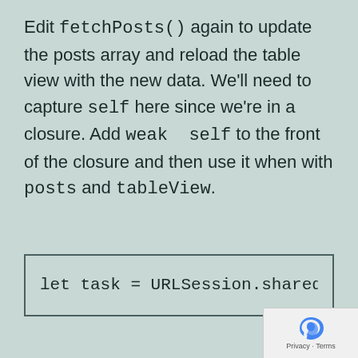Edit fetchPosts() again to update the posts array and reload the table view with the new data. We'll need to capture self here since we're in a closure. Add weak self to the front of the closure and then use it when with posts and tableView.
let task = URLSession.shared.da
Also, since we're fetching the data on a background thread, we need to get back the main thread to update the table view.